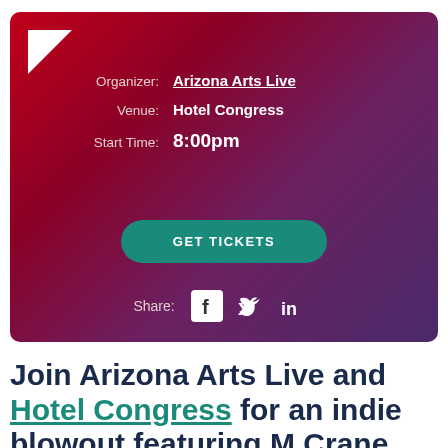[Figure (infographic): Event info card with gradient background (dark red to purple), logo mark in top-left, organizer/venue/start time fields, GET TICKETS button, and social share icons (Facebook, Twitter, LinkedIn)]
Join Arizona Arts Live and Hotel Congress for an indie blowout featuring M.Crane